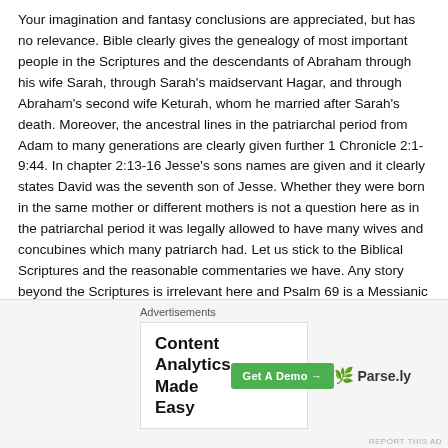Your imagination and fantasy conclusions are appreciated, but has no relevance. Bible clearly gives the genealogy of most important people in the Scriptures and the descendants of Abraham through his wife Sarah, through Sarah's maidservant Hagar, and through Abraham's second wife Keturah, whom he married after Sarah's death. Moreover, the ancestral lines in the patriarchal period from Adam to many generations are clearly given further 1 Chronicle 2:1-9:44. In chapter 2:13-16 Jesse's sons names are given and it clearly states David was the seventh son of Jesse. Whether they were born in the same mother or different mothers is not a question here as in the patriarchal period it was legally allowed to have many wives and concubines which many patriarch had. Let us stick to the Biblical Scriptures and the reasonable commentaries we have. Any story beyond the Scriptures is irrelevant here and Psalm 69 is a Messianic psalm as is Psalm 22. David may have been despised by some of his older brothers just as Joseph was, who by providence became the Second in Command who God chose and the provider for the Israelites when severe famine hit Israel. God has plan and purpose for everyone who mat even be born out of wedlo...
Advertisements
[Figure (screenshot): Advertisement banner: 'Content Analytics Made Easy' with a green 'Get A Demo →' button and Parse.ly branding with leaf logo]